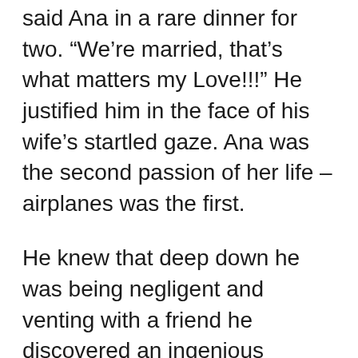said Ana in a rare dinner for two. “We’re married, that’s what matters my Love!!!” He justified him in the face of his wife’s startled gaze. Ana was the second passion of her life – airplanes was the first.
He knew that deep down he was being negligent and venting with a friend he discovered an ingenious solution. “You need the Messeplus AI. Yes, I’m talking about an application that uses state-of-the-art artificial intelligence. It fires and responds messages according to some parameters. You don’t have to heat your head